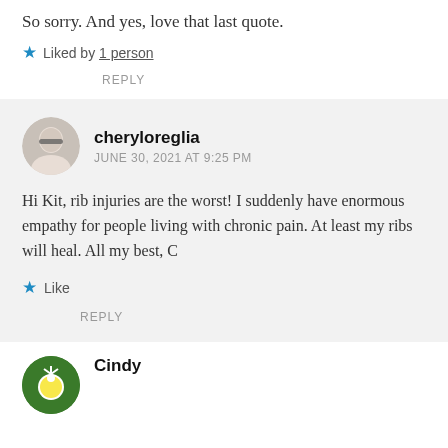So sorry. And yes, love that last quote.
★ Liked by 1 person
REPLY
cheryloreglia
JUNE 30, 2021 AT 9:25 PM
Hi Kit, rib injuries are the worst! I suddenly have enormous empathy for people living with chronic pain. At least my ribs will heal. All my best, C
★ Like
REPLY
Cindy